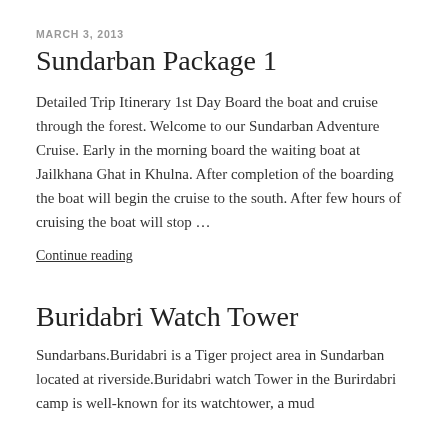MARCH 3, 2013
Sundarban Package 1
Detailed Trip Itinerary 1st Day Board the boat and cruise through the forest. Welcome to our Sundarban Adventure Cruise. Early in the morning board the waiting boat at Jailkhana Ghat in Khulna. After completion of the boarding the boat will begin the cruise to the south. After few hours of cruising the boat will stop …
Continue reading
Buridabri Watch Tower
Sundarbans.Buridabri is a Tiger project area in Sundarban located at riverside.Buridabri watch Tower in the Burirdabri camp is well-known for its watchtower, a mud